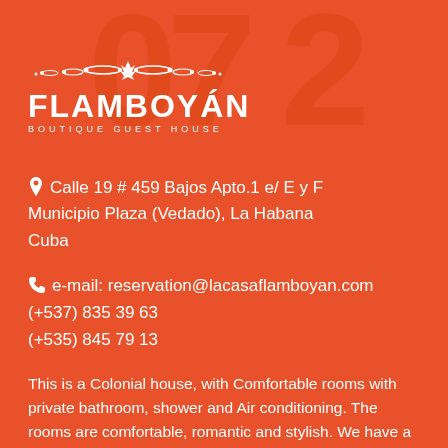[Figure (logo): Flamboyan Boutique Guest House logo with ornamental crown decoration, white text on orange background]
Calle 19 # 459 Bajos Apto.1 e/ E y F Municipio Plaza (Vedado), La Habana Cuba
e-mail: reservation@lacasaflamboyan.com (+537) 835 39 63 (+535) 845 79 13
This is a Colonial house, with Comfortable rooms with private bathroom, shower and Air conditioning. The rooms are comfortable, romantic and stylish. We have a big roof terrace and a garden where you can relax.